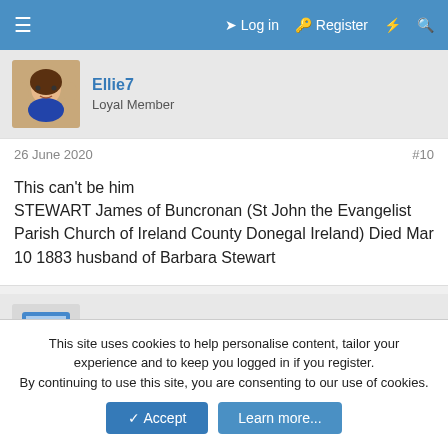≡  Log in  Register  ⚡  🔍
Ellie7
Loyal Member
26 June 2020  #10
This can't be him
STEWART James of Buncronan (St John the Evangelist Parish Church of Ireland County Donegal Ireland) Died Mar 10 1883 husband of Barbara Stewart
DaveHam9
Loyal Member  Staff member  Moderator
26 June 2020  #11
This site uses cookies to help personalise content, tailor your experience and to keep you logged in if you register.
By continuing to use this site, you are consenting to our use of cookies.